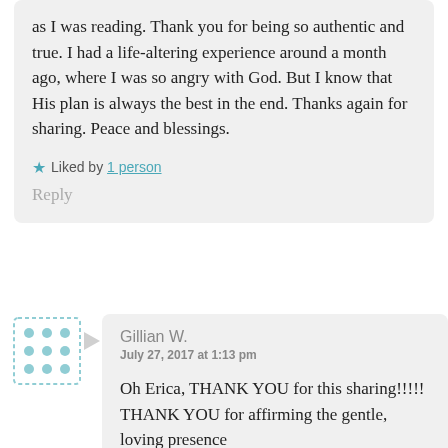as I was reading. Thank you for being so authentic and true. I had a life-altering experience around a month ago, where I was so angry with God. But I know that His plan is always the best in the end. Thanks again for sharing. Peace and blessings.
★ Liked by 1 person
Reply
Gillian W.
July 27, 2017 at 1:13 pm
Oh Erica, THANK YOU for this sharing!!!!! THANK YOU for affirming the gentle, loving presence